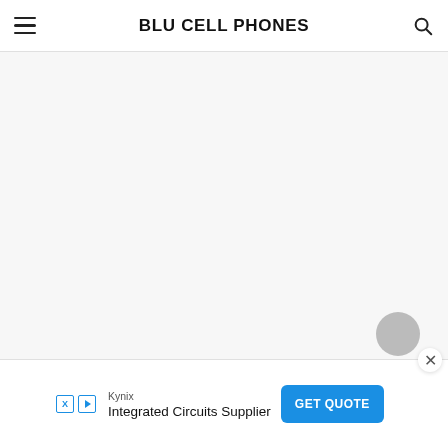BLU CELL PHONES
[Figure (screenshot): Empty white/light gray main content area of a webpage]
Kynix
Integrated Circuits Supplier
GET QUOTE